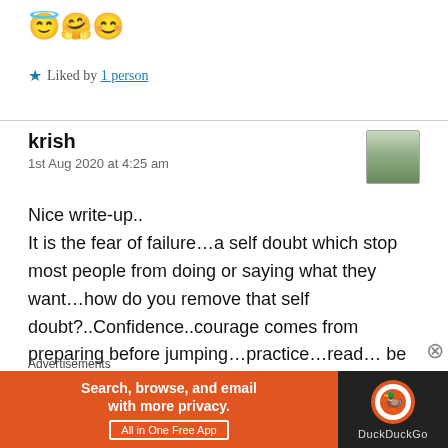😇🤗😊
★ Liked by 1 person
krish
1st Aug 2020 at 4:25 am
Nice write-up..
It is the fear of failure…a self doubt which stop most people from doing or saying what they want…how do you remove that self doubt?..Confidence..courage comes from preparing before jumping…practice…read…be sure…it will build self belief…and give the courage to
Advertisements
[Figure (screenshot): DuckDuckGo advertisement banner: orange left section with text 'Search, browse, and email with more privacy. All in One Free App', dark right section with DuckDuckGo logo and name.]